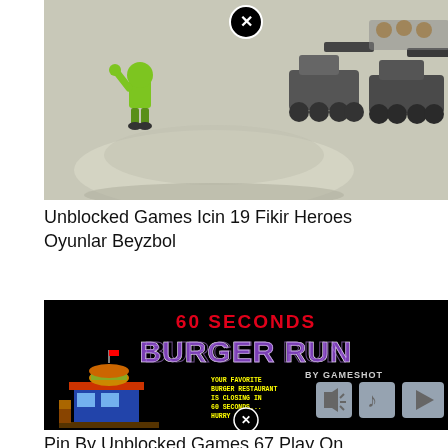[Figure (screenshot): Game screenshot showing a green cartoon character on a grey background with military vehicles and tanks on the right side, with an X close button at the top center.]
Unblocked Games Icin 19 Fikir Heroes Oyunlar Beyzbol
[Figure (screenshot): Screenshot of '60 Seconds Burger Run by Gameshot' game title screen on black background, showing a pixel-art burger restaurant scene with game UI buttons (mute, music, play).]
Pin By Unblocked Games 67 Play On Unblocked